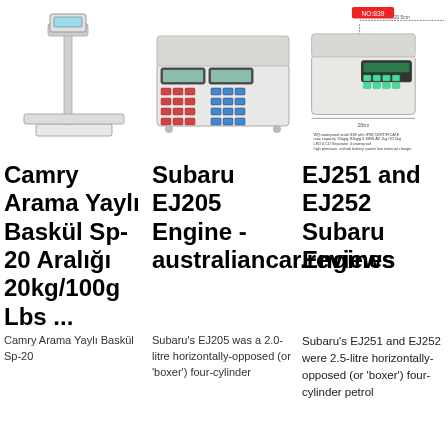[Figure (photo): Platform weighing scale with vertical pole and digital display on top, white/metallic.]
[Figure (photo): Compact digital price computing scale with keypad and dual display, white/metallic.]
[Figure (photo): Compact waterproof digital scale NO:839 with dimension annotations, white body, green display.]
Camry Arama Yaylı Baskül Sp-20 Aralığı 20kg/100g Lbs ...
Subaru EJ205 Engine - australiancar.reviews
EJ251 and EJ252 Subaru Engines
Camry Arama Yaylı Baskül Sp-20
Subaru's EJ205 was a 2.0-litre horizontally-opposed (or 'boxer') four-cylinder
Subaru's EJ251 and EJ252 were 2.5-litre horizontally-opposed (or 'boxer') four-cylinder petrol